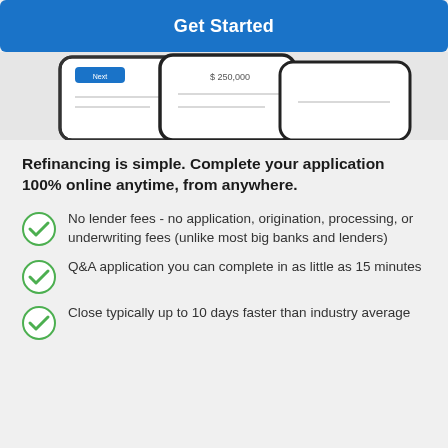Get Started
[Figure (screenshot): Partial view of mobile phone screens showing a loan application interface with '$250,000' visible on one screen]
Refinancing is simple. Complete your application 100% online anytime, from anywhere.
No lender fees - no application, origination, processing, or underwriting fees (unlike most big banks and lenders)
Q&A application you can complete in as little as 15 minutes
Close typically up to 10 days faster than industry average